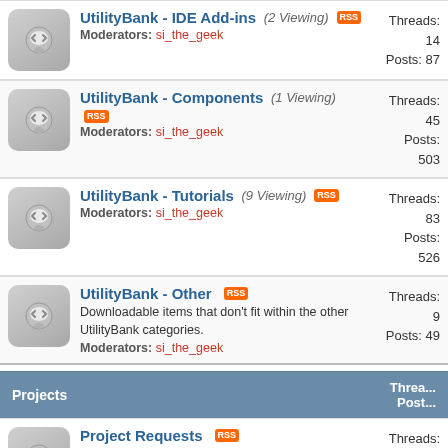| Forum | Threads / Posts |
| --- | --- |
| UtilityBank - IDE Add-ins (2 Viewing) | Moderators: si_the_geek | Threads: 14
Posts: 87 |
| UtilityBank - Components (1 Viewing) | Moderators: si_the_geek | Threads: 45
Posts: 503 |
| UtilityBank - Tutorials (9 Viewing) | Moderators: si_the_geek | Threads: 83
Posts: 526 |
| UtilityBank - Other | Downloadable items that don't fit within the other UtilityBank categories. | Moderators: si_the_geek | Threads: 9
Posts: 49 |
Projects | Threads / Posts
| Forum | Threads / Posts |
| --- | --- |
| Project Requests | Looking for some developers for your next project? Looking for beta testers? This is the place to post. Please - no spamming though. | Moderators: Steve R Jones | Threads: 1,682
Posts: 8,678 |
| Project Communication Area | Once you have your project team together, drop in here to discuss what's happening with fellow developers, report bugs, etc. | Moderators: Steve R Jones | Threads: 166
Posts: 13,574 |